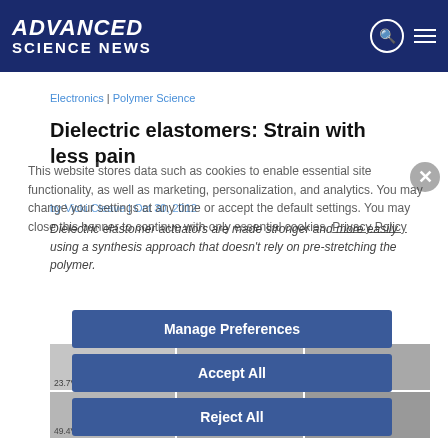ADVANCED SCIENCE NEWS
Electronics | Polymer Science
Dielectric elastomers: Strain with less pain
by Vicki Cleave | Oct 30, 2012
Dielectric elastomer actuators are made stronger and more easily using a synthesis approach that doesn't rely on pre-stretching the polymer.
This website stores data such as cookies to enable essential site functionality, as well as marketing, personalization, and analytics. You may change your settings at any time or accept the default settings. You may close this banner to continue with only essential cookies. Privacy Policy
Manage Preferences
Accept All
Reject All
[Figure (photo): Grid of images showing dielectric elastomer samples at different electric field strengths: 23.7V/μm, 24.7V/μm, 25.3V/μm (top row) and 49.4V/μm, 54.5V/μm, 64.9V/μm (bottom row)]